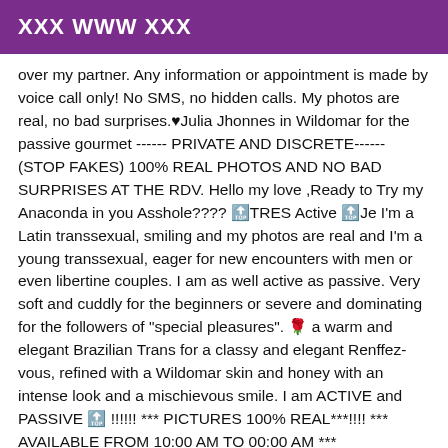XXX WWW XXX
over my partner. Any information or appointment is made by voice call only! No SMS, no hidden calls. My photos are real, no bad surprises.❤Julia Jhonnes in Wildomar for the passive gourmet ------ PRIVATE AND DISCRETE------ (STOP FAKES) 100% REAL PHOTOS AND NO BAD SURPRISES AT THE RDV. Hello my love ,Ready to Try my Anaconda in you Asshole???? 🔝TRES Active 🔝Je I'm a Latin transsexual, smiling and my photos are real and I'm a young transsexual, eager for new encounters with men or even libertine couples. I am as well active as passive. Very soft and cuddly for the beginners or severe and dominating for the followers of "special pleasures". 🌹 a warm and elegant Brazilian Trans for a classy and elegant Renffez-vous, refined with a Wildomar skin and honey with an intense look and a mischievous smile. I am ACTIVE and PASSIVE 🔝 !!!!!! *** PICTURES 100% REAL***!!!! *** AVAILABLE FROM 10:00 AM TO 00:00 AM *** APPOINTMENT 30 MIN